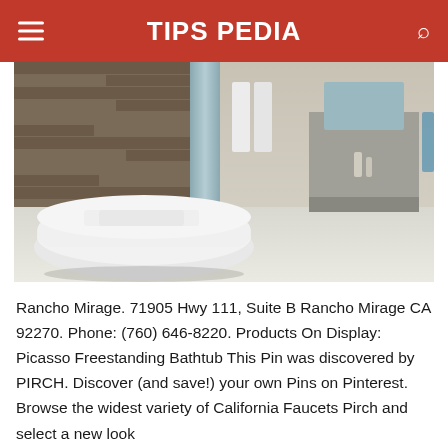TIPS PEDIA
[Figure (photo): Luxury bathroom interior with freestanding white bathtub (Picasso Freestanding Bathtub), stone accent wall, towels, and vanity area]
Rancho Mirage. 71905 Hwy 111, Suite B Rancho Mirage CA 92270. Phone: (760) 646-8220. Products On Display: Picasso Freestanding Bathtub This Pin was discovered by PIRCH. Discover (and save!) your own Pins on Pinterest. Browse the widest variety of California Faucets Pirch and select a new look